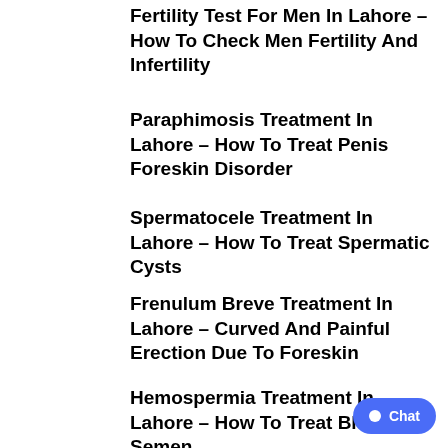Fertility Test For Men In Lahore – How To Check Men Fertility And Infertility
Paraphimosis Treatment In Lahore – How To Treat Penis Foreskin Disorder
Spermatocele Treatment In Lahore – How To Treat Spermatic Cysts
Frenulum Breve Treatment In Lahore – Curved And Painful Erection Due To Foreskin
Hemospermia Treatment In Lahore – How To Treat Blood In Semen